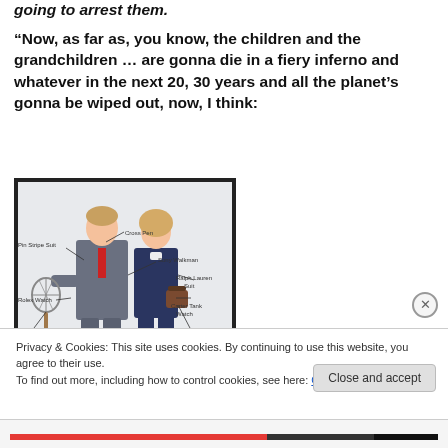going to arrest them.
“Now, as far as, you know, the children and the grandchildren … are gonna die in a fiery inferno and whatever in the next 20, 30 years and all the planet’s gonna be wiped out, now, I think:
[Figure (illustration): Illustration of a man and woman dressed in 1980s preppy/yuppie style with labeled fashion items: Pin Stripe Suit, Cross Pen, Sony Walkman, Rolex Watch, Ralph Lauren Suit, Squash Racquet, Carter Tank Watch, Burberry Trench Coat, Coach Bag]
Privacy & Cookies: This site uses cookies. By continuing to use this website, you agree to their use.
To find out more, including how to control cookies, see here: Cookie Policy
Close and accept